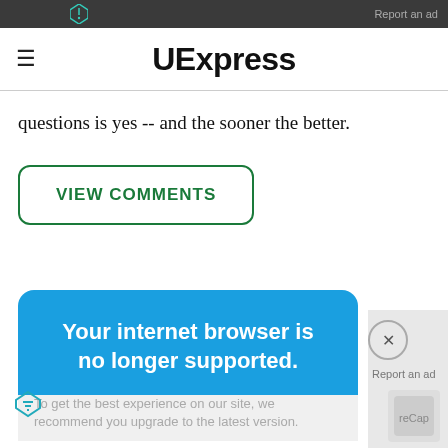Report an ad
UExpress
questions is yes -- and the sooner the better.
VIEW COMMENTS
Your internet browser is no longer supported.
To get the best experience on our site, we recommend you upgrade to the latest version.
Report an ad